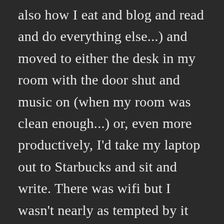also how I eat and blog and read and do everything else...) and moved to either the desk in my room with the door shut and music on (when my room was clean enough...) or, even more productively, I'd take my laptop out to Starbucks and sit and write. There was wifi but I wasn't nearly as tempted by it outside my apartment, and being somewhere else just made me feel more focused. Probably because I was constantly surrounded